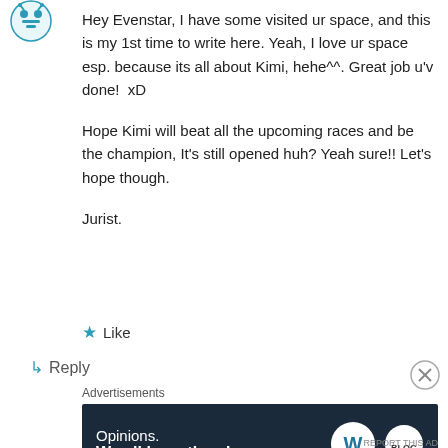[Figure (illustration): Teal/green avatar icon (decorative robot or creature shape)]
Hey Evenstar, I have some visited ur space, and this is my 1st time to write here. Yeah, I love ur space esp. because its all about Kimi, hehe^^. Great job u'v done!  xD

Hope Kimi will beat all the upcoming races and be the champion, It’s still opened huh? Yeah sure!! Let’s hope though.

Jurist.
★ Like
↵ Reply
Advertisements
[Figure (infographic): Dark navy advertisement banner reading 'Opinions. We all have them!' with WordPress logo and another circular logo on the right.]